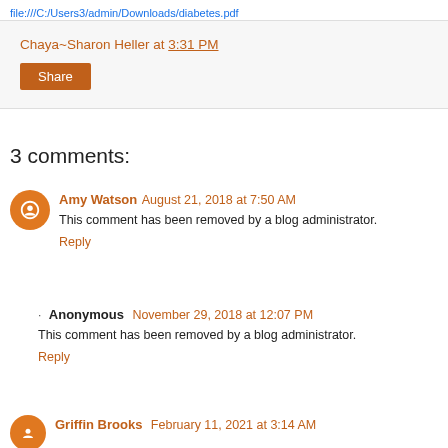file:///C:/Users3/admin/Downloads/diabetes.pdf
Chaya~Sharon Heller at 3:31 PM
Share
3 comments:
Amy Watson  August 21, 2018 at 7:50 AM
This comment has been removed by a blog administrator.
Reply
Anonymous  November 29, 2018 at 12:07 PM
This comment has been removed by a blog administrator.
Reply
Griffin Brooks  February 11, 2021 at 3:14 AM